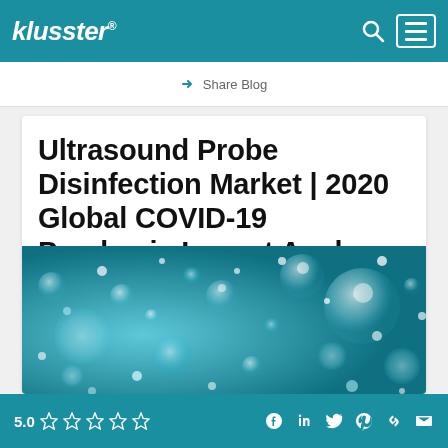klusster®
Share Blog
Ultrasound Probe Disinfection Market | 2020 Global COVID-19 Pandemic Impact Anal
[Figure (photo): Abstract aqua/teal background with bubbles and water droplets, bokeh effect]
5.0 ☆☆☆☆☆